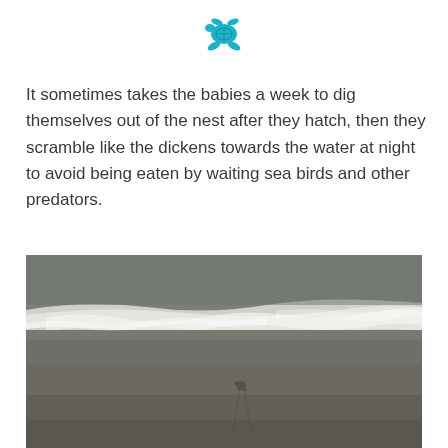[Figure (logo): Teal/cyan sea turtle icon facing left, used as a logo or decorative header element]
It sometimes takes the babies a week to dig themselves out of the nest after they hatch, then they scramble like the dickens towards the water at night to avoid being eaten by waiting sea birds and other predators.
[Figure (photo): Aerial/overhead photo of a beach shoreline showing ocean waves with white foam washing onto dark sandy beach, with a tiny baby sea turtle visible on the sand crawling toward the water, leaving small tracks behind it]